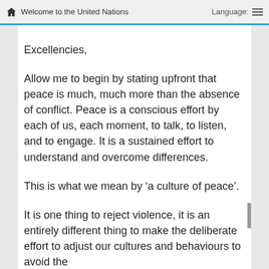Welcome to the United Nations    Language:
Excellencies,
Allow me to begin by stating upfront that peace is much, much more than the absence of conflict. Peace is a conscious effort by each of us, each moment, to talk, to listen, and to engage. It is a sustained effort to understand and overcome differences.
This is what we mean by ‘a culture of peace’.
It is one thing to reject violence, it is an entirely different thing to make the deliberate effort to adjust our cultures and behaviours to avoid the